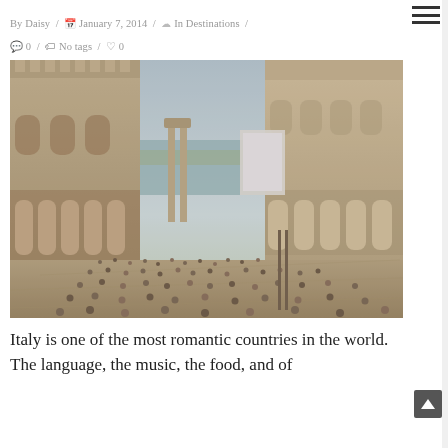By Daisy / January 7, 2014 / In Destinations / 0 / No tags / 0
[Figure (photo): Aerial/elevated view of Piazza San Marco (St. Mark's Square) in Venice, Italy, showing the Doge's Palace on the left, the Procuratie buildings on the right, columns and the lagoon in the background, with many tourists walking in the square. Sepia/warm tone photograph.]
Italy is one of the most romantic countries in the world. The language, the music, the food, and of